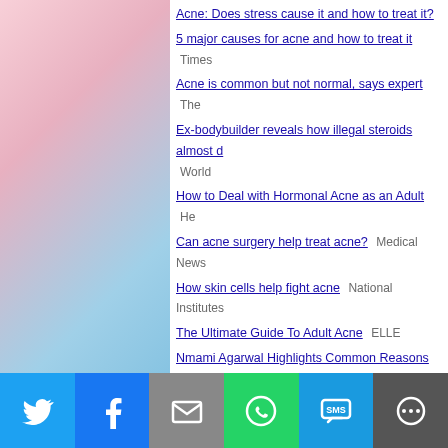Acne: Does stress cause it and how to treat it?
5 major causes for acne and how to treat it  Times
Acne is common but not normal, says expert  The
Ex-bodybuilder reveals how illegal steroids almost d...  World
How to Deal with Hormonal Acne as an Adult  He
Can acne surgery help treat acne?  Medical News
How skin cells help fight acne  National Institutes
The Ultimate Guide To Adult Acne  ELLE
Nmami Agarwal Highlights Common Reasons Behi... Breakouts  NDTV Doctor
Best and worst food for acne  Hindustan Times
The Best Spot Treatments That Can Shrink Your Zit...  Philippines
Skincare alert: Three good habits that can 'help cle...  Express
Let's Talk About Acne: Ask the Expert  Healthline
Acne In Monsoon: Causes & How To Improve Skin
Adult Acne 101: An Expert Report Breakout B...
[Figure (infographic): Social share bar with Twitter, Facebook, Email, WhatsApp, SMS, and More buttons]